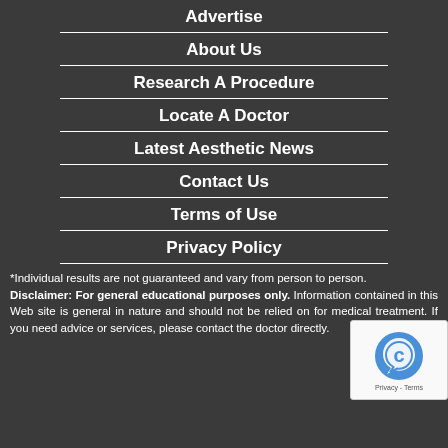Advertise
About Us
Research A Procedure
Locate A Doctor
Latest Aesthetic News
Contact Us
Terms of Use
Privacy Policy
*Individual results are not guaranteed and vary from person to person.
Disclaimer: For general educational purposes only. Information contained in this Web site is general in nature and should not be relied on for medical treatment. If you need advice or services, please contact the doctor directly.